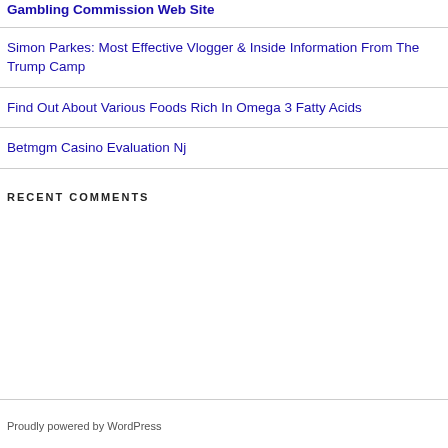Gambling Commission Web Site
Simon Parkes: Most Effective Vlogger & Inside Information From The Trump Camp
Find Out About Various Foods Rich In Omega 3 Fatty Acids
Betmgm Casino Evaluation Nj
RECENT COMMENTS
Proudly powered by WordPress